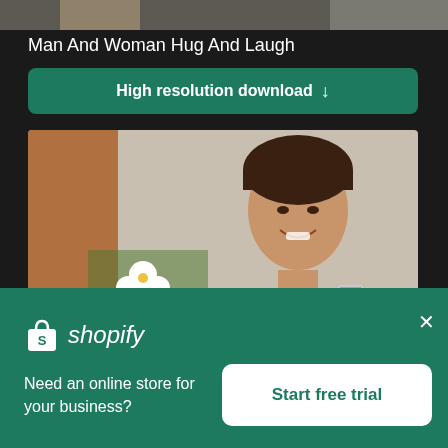[Figure (photo): Top strip of a photo showing a man and woman hugging and laughing, dark background]
Man And Woman Hug And Laugh
High resolution download ↓
[Figure (photo): Smiling Asian woman at a table with white flowers, wearing a grey turtleneck sweater]
×
[Figure (logo): Shopify logo — shopping bag icon with S, next to italic text 'shopify']
Need an online store for your business?
Start free trial